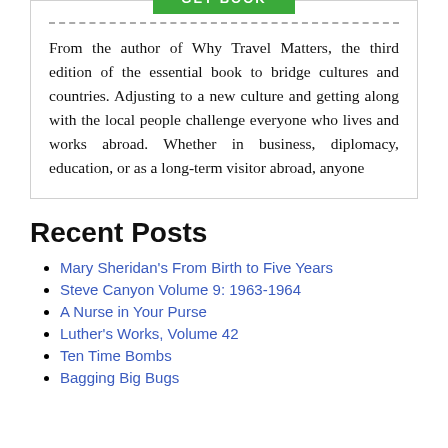[Figure (other): Green GET BOOK button]
From the author of Why Travel Matters, the third edition of the essential book to bridge cultures and countries. Adjusting to a new culture and getting along with the local people challenge everyone who lives and works abroad. Whether in business, diplomacy, education, or as a long-term visitor abroad, anyone
Recent Posts
Mary Sheridan's From Birth to Five Years
Steve Canyon Volume 9: 1963-1964
A Nurse in Your Purse
Luther's Works, Volume 42
Ten Time Bombs
Bagging Big Bugs